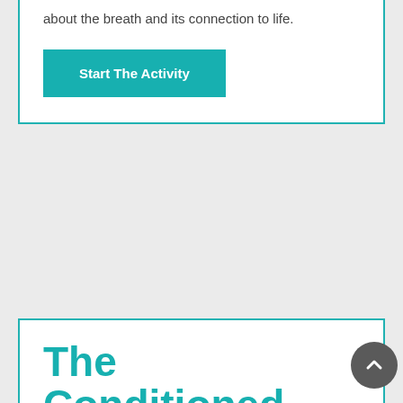about the breath and its connection to life.
Start The Activity
The Conditioned
An activity that demonstrates the importance of looking past a person's outer appearance and discovering who they are underneath.